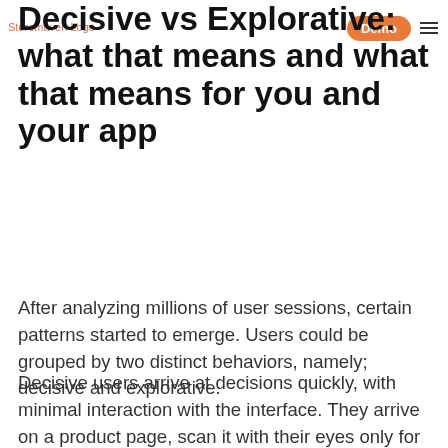Storemaven Logo | Demo | menu
Decisive vs Explorative: what that means and what that means for you and your app
After analyzing millions of user sessions, certain patterns started to emerge. Users could be grouped by two distinct behaviors, namely; decisive and explorative.
Decisive users arrive at decisions quickly, with minimal interaction with the interface. They arrive on a product page, scan it with their eyes only for no more than around 3-6 seconds before making the decision to install or drop and go look somewhere else.